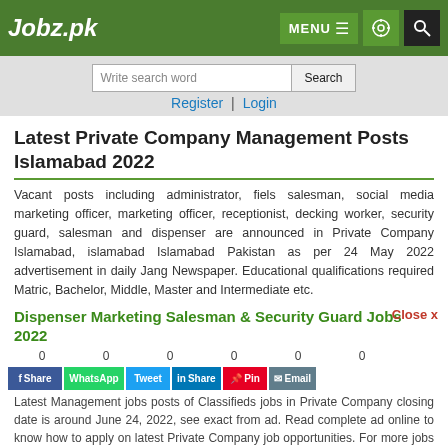Jobz.pk — MENU, settings, search icons
Write search word — Search — Register | Login
Latest Private Company Management Posts Islamabad 2022
Vacant posts including administrator, fiels salesman, social media marketing officer, marketing officer, receptionist, decking worker, security guard, salesman and dispenser are announced in Private Company Islamabad, islamabad Islamabad Pakistan as per 24 May 2022 advertisement in daily Jang Newspaper. Educational qualifications required Matric, Bachelor, Middle, Master and Intermediate etc.
Dispenser Marketing Salesman & Security Guard Jobs 2022
Latest Management jobs posts of Classifieds jobs in Private Company closing date is around June 24, 2022, see exact from ad. Read complete ad online to know how to apply on latest Private Company job opportunities. For more jobs register with Jobz.pk.
Share buttons: Facebook Share, WhatsApp, Tweet, LinkedIn Share, Pinterest Pin, Email
Job Closed | Save | Comment | Print